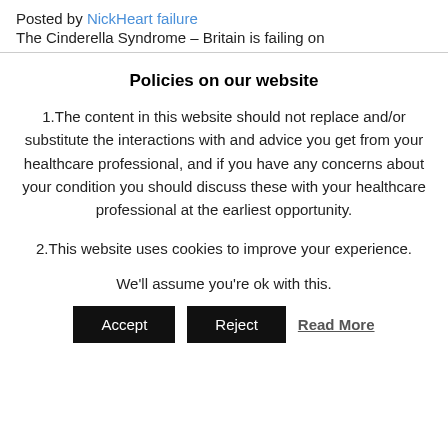Posted by NickHeart failure
The Cinderella Syndrome – Britain is failing on
Policies on our website
1.The content in this website should not replace and/or substitute the interactions with and advice you get from your healthcare professional, and if you have any concerns about your condition you should discuss these with your healthcare professional at the earliest opportunity.
2.This website uses cookies to improve your experience.
We'll assume you're ok with this.
Accept   Reject   Read More